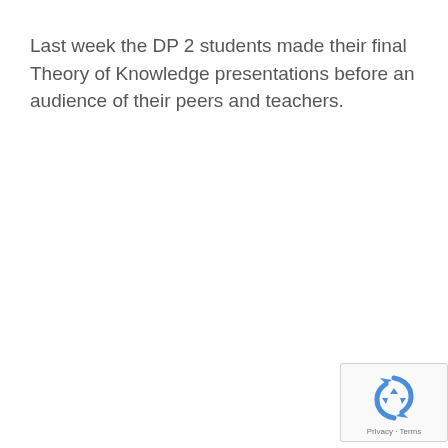Last week the DP 2 students made their final Theory of Knowledge presentations before an audience of their peers and teachers.
[Figure (logo): reCAPTCHA badge with recycling-arrow logo icon and Privacy · Terms links]